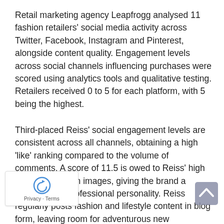Retail marketing agency Leapfrogg analysed 11 fashion retailers' social media activity across Twitter, Facebook, Instagram and Pinterest, alongside content quality. Engagement levels across social channels influencing purchases were scored using analytics tools and qualitative testing. Retailers received 0 to 5 for each platform, with 5 being the highest.
Third-placed Reiss' social engagement levels are consistent across all channels, obtaining a high 'like' ranking compared to the volume of comments. A score of 11.5 is owed to Reiss' high quality campaign images, giving the brand a polished and professional personality. Reiss regularly posts fashion and lifestyle content in blog form, leaving room for adventurous new technology to capture